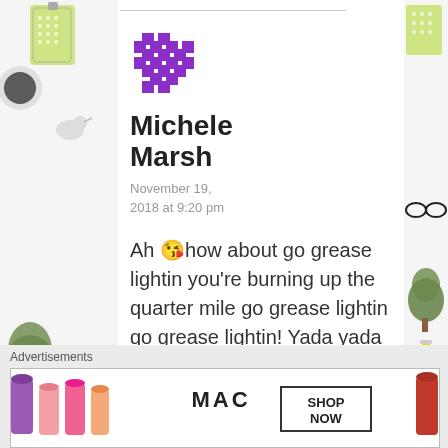[Figure (illustration): Decorative left side strip with illustrated items: grater, tree, glasses, circular silhouettes, calendar, lipstick-like items on light background]
[Figure (logo): Purple pixel/grid style avatar icon for Michele Marsh]
Michele Marsh
November 19, 2018 at 9:20 pm
Ah 😘how about go grease lightin you're burning up the quarter mile go grease lightin go grease lightin! Yada yada something
[Figure (illustration): Decorative right side strip with illustrated items: cup, glasses, X circle, tree on light background]
Advertisements
[Figure (photo): MAC cosmetics advertisement banner showing colorful lipsticks with SHOP NOW button]